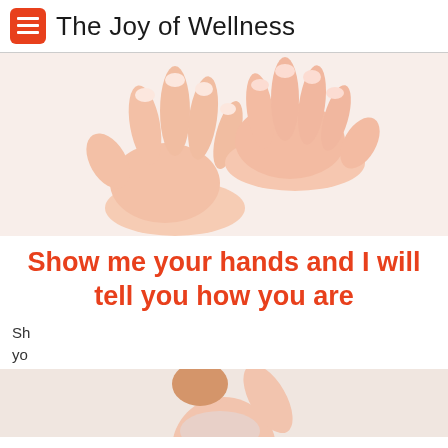The Joy of Wellness
[Figure (photo): Close-up photo of two hands with manicured nails on a white background]
Show me your hands and I will tell you how you are
Sh...
Privacy & Cookies: This site uses cookies. By continuing to use this website, you agree to their use.
To find out more, including how to control cookies, see here:
Cookie Policy
Close and accept
[Figure (photo): Partial view of a woman raising her arm, visible from shoulders up]